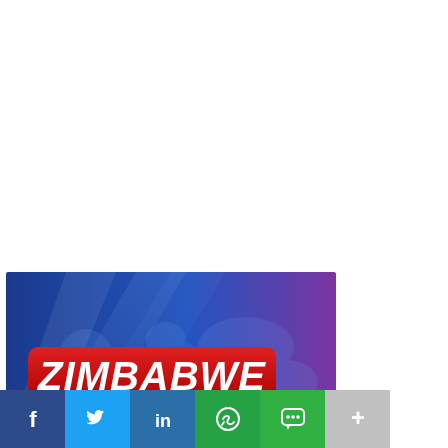[Figure (illustration): Zimbabwe Daily News logo on a blue-to-purple gradient background with world map silhouette. A large red banner with white italic text reading 'ZIMBABWE' is prominently displayed, with a cyan/teal partial text 'DAILY' visible below.]
[Figure (infographic): Social media sharing bar with six buttons: Facebook (dark blue), Twitter (sky blue), LinkedIn (medium blue), WhatsApp (green), SMS (green with chat bubble icon), and a gray More (+) button.]